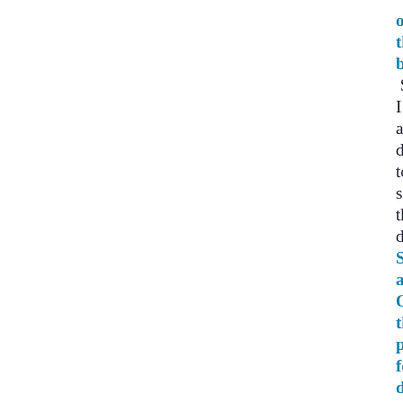of the boo Still I am deli to say that dur Sep and Oct the pub for det top is rep to Afr